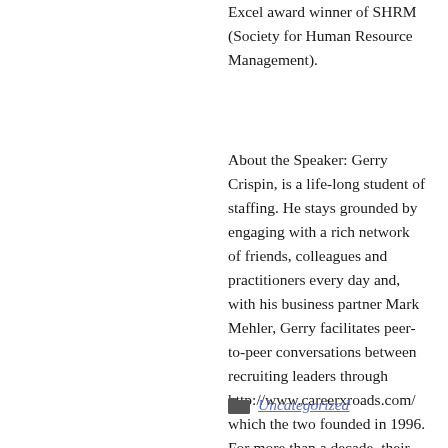Excel award winner of SHRM (Society for Human Resource Management).
About the Speaker: Gerry Crispin, is a life-long student of staffing. He stays grounded by engaging with a rich network of friends, colleagues and practitioners every day and, with his business partner Mark Mehler, Gerry facilitates peer-to-peer conversations between recruiting leaders through http://www.careerxroads.com/ which the two founded in 1996. For more than a decade, their small, but intense, invitation-only meetings (The CareerXroads' Colloquium) are hosted eight times each year around the world on various topics.
Uncategorized